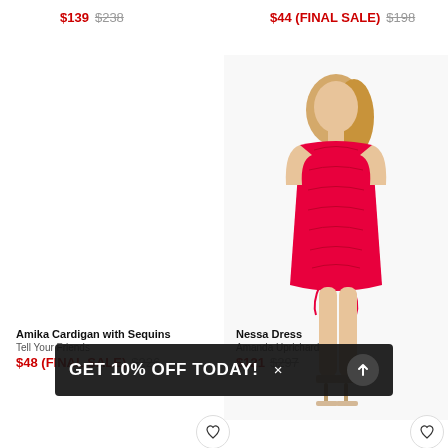$139  $238
$44 (FINAL SALE)  $198
[Figure (photo): Model wearing a hot pink/red ruched mini dress by Amanda Uprichard, posing on white background]
Amika Cardigan with Sequins
Tell Your Friends
$48 (FINAL SALE)  $226
Nessa Dress
Amanda Uprichard
$121  $297
GET 10% OFF TODAY! ×